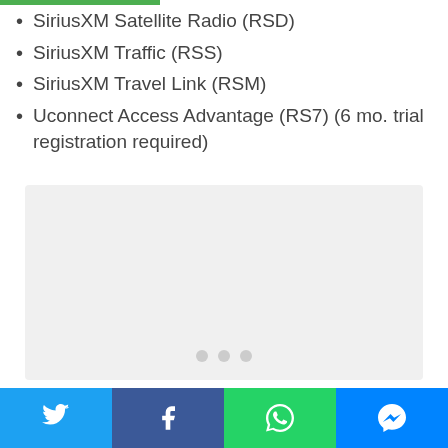SiriusXM Satellite Radio (RSD)
SiriusXM Traffic (RSS)
SiriusXM Travel Link (RSM)
Uconnect Access Advantage (RS7) (6 mo. trial registration required)
[Figure (other): Light gray image placeholder box with three pagination dots at the bottom center]
Social share bar with Twitter, Facebook, WhatsApp, and Messenger buttons